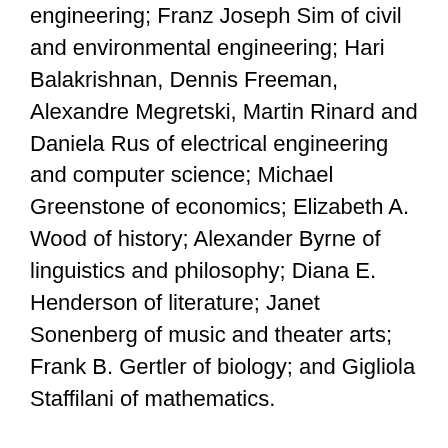engineering; Franz Joseph Sim of civil and environmental engineering; Hari Balakrishnan, Dennis Freeman, Alexandre Megretski, Martin Rinard and Daniela Rus of electrical engineering and computer science; Michael Greenstone of economics; Elizabeth A. Wood of history; Alexander Byrne of linguistics and philosophy; Diana E. Henderson of literature; Janet Sonenberg of music and theater arts; Frank B. Gertler of biology; and Gigliola Staffilani of mathematics.
To date, 38 faculty members have been promoted from assistant professor to associate professor without tenure: Erika Naginski of architecture; Christopher Csikszentmihalyi, Judith Stefania Donath and Hugh Miller Herr of media arts and sciences; JoAnn Carmin of urban studies and planning; Raul